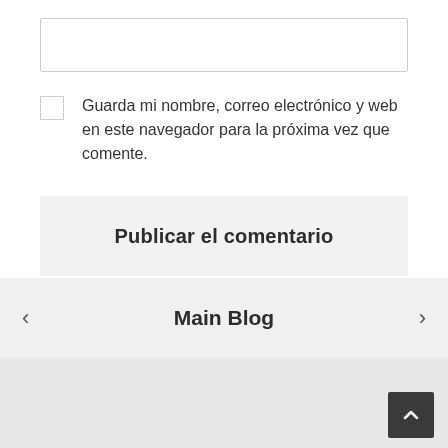[Figure (screenshot): Empty text input field with border]
Guarda mi nombre, correo electrónico y web en este navegador para la próxima vez que comente.
Publicar el comentario
Main Blog
[Figure (other): Back to top button, dark square with upward chevron]